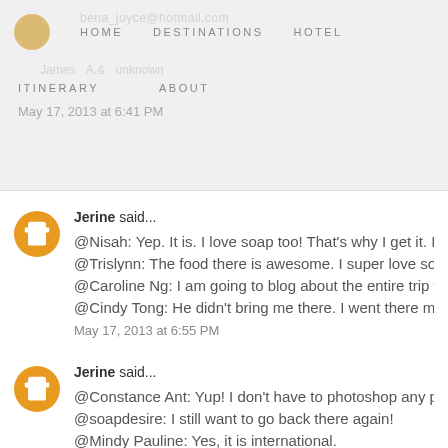HOME   DESTINATIONS   HOTEL   ITINERARY   ABOUT
May 17, 2013 at 6:41 PM
Jerine said...
@Nisah: Yep. It is. I love soap too! That's why I get it. I tried the olive ...
@Trislynn: The food there is awesome. I super love souvlaki and tzat...
@Caroline Ng: I am going to blog about the entire trip with tips on r...
@Cindy Tong: He didn't bring me there. I went there myself :( But at...
May 17, 2013 at 6:55 PM
Jerine said...
@Constance Ant: Yup! I don't have to photoshop any photo!!!
@soapdesire: I still want to go back there again!
@Mindy Pauline: Yes, it is international.
@Waione: Hahahaha... I didn't buy any necklace because it cost...